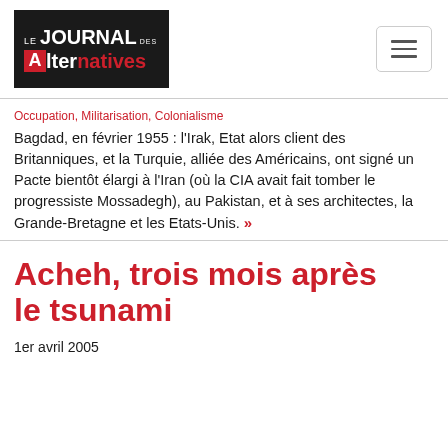[Figure (logo): Le Journal des Alternatives logo - black background with red A and red 'natives' text]
Occupation, Militarisation, Colonialisme
Bagdad, en février 1955 : l'Irak, Etat alors client des Britanniques, et la Turquie, alliée des Américains, ont signé un Pacte bientôt élargi à l'Iran (où la CIA avait fait tomber le progressiste Mossadegh), au Pakistan, et à ses architectes, la Grande-Bretagne et les Etats-Unis. »
Acheh, trois mois après le tsunami
1er avril 2005